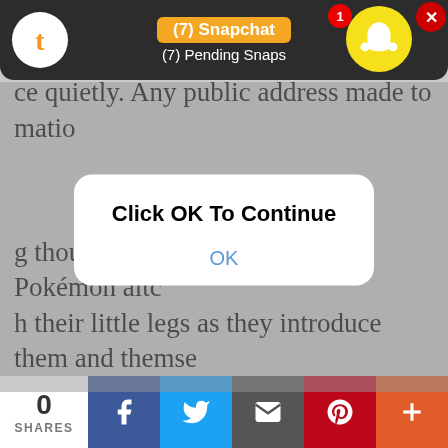[Figure (screenshot): Snapchat notification bar at top of mobile screen showing '(7) Snapchat' in orange badge and '(7) Pending Snaps' subtitle on dark background, with Tumblr icon on left and Snapchat ghost icon on right, notification badge showing '1', and red X close button]
ch hub, but they don't know how people know Ingo's a ce quietly. Any public address made to mation g though the woods, letting their Pokemon al tc h their little legs as they introduce them and themselves to the modern world bit by bit.
Also, 'slightly feral'? This kid has spent weeks in the wild, learning and studying pokemon behaviors in all climates and literally stalking prey subjects to catch. If she runs into a forest she just vanishes into the foliage. Modern Pokémon who hang out in the grass are not prepared for a human to sneak up and chill right next to them.
[Figure (screenshot): Modal dialog overlay with white rounded rectangle containing bold text 'Click OK To Continue' and blue 'OK' button text]
Ingo is much the same, learning to survive in the highlands when he needs too, climbing steep cliffs with
[Figure (screenshot): Bottom social share bar showing 0 SHARES count and buttons for Facebook, Twitter, Email, Pinterest, and More]